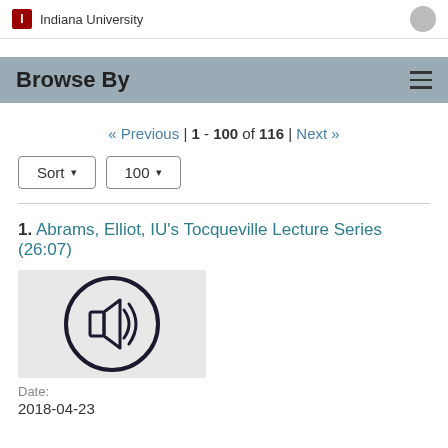Indiana University
Browse By
« Previous | 1 - 100 of 116 | Next »
Sort ▾   100 ▾
1. Abrams, Elliot, IU's Tocqueville Lecture Series (26:07)
[Figure (illustration): Audio icon — speaker with sound waves inside a dark circle, on a light grey background]
Date:
2018-04-23